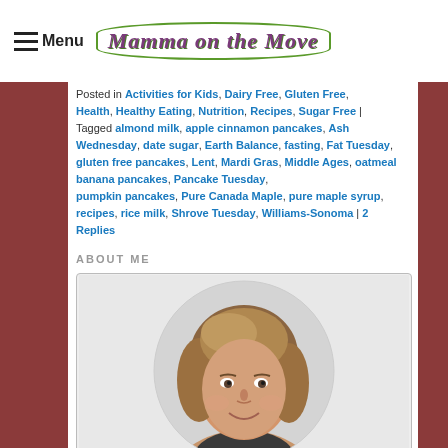Menu — Mamma on the Move
Posted in Activities for Kids, Dairy Free, Gluten Free, Health, Healthy Eating, Nutrition, Recipes, Sugar Free | Tagged almond milk, apple cinnamon pancakes, Ash Wednesday, date sugar, Earth Balance, fasting, Fat Tuesday, gluten free pancakes, Lent, Mardi Gras, Middle Ages, oatmeal banana pancakes, Pancake Tuesday, pumpkin pancakes, Pure Canada Maple, pure maple syrup, recipes, rice milk, Shrove Tuesday, Williams-Sonoma | 2 Replies
ABOUT ME
[Figure (photo): Circular portrait photo of a smiling middle-aged woman with shoulder-length brown/blonde hair, against a light grey background.]